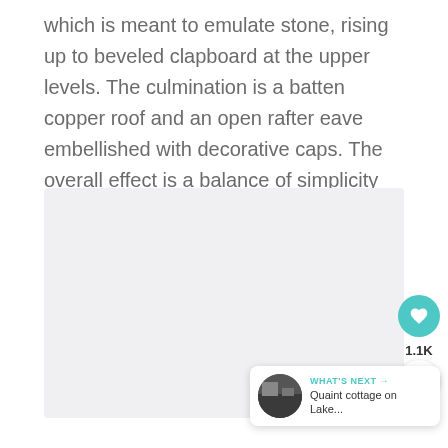which is meant to emulate stone, rising up to beveled clapboard at the upper levels. The culmination is a batten copper roof and an open rafter eave embellished with decorative caps. The overall effect is a balance of simplicity and sophistication.
[Figure (photo): A large light gray image placeholder area representing an architectural or property photo]
1.1K
WHAT'S NEXT → Quaint cottage on Lake...